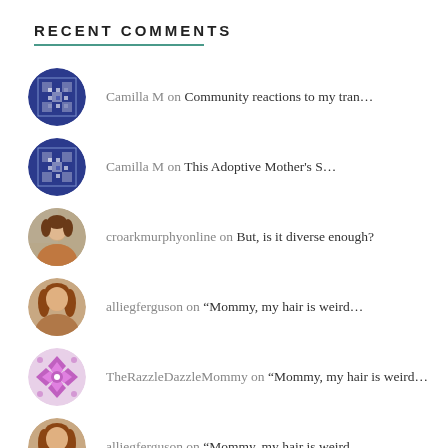RECENT COMMENTS
Camilla M on Community reactions to my tran...
Camilla M on This Adoptive Mother's S...
croarkmurphyonline on But, is it diverse enough?
alliegferguson on “Mommy, my hair is weird...
TheRazzleDazzleMommy on “Mommy, my hair is weird...
alliegferguson on “Mommy, my hair is weird...
Jill ODell on “Mommy, my hair is weird...